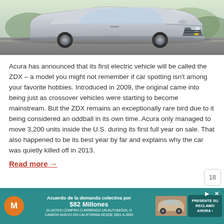[Figure (photo): Photo of a silver Acura ZDX crossover SUV, front three-quarter view, parked outdoors]
Acura has announced that its first electric vehicle will be called the ZDX – a model you might not remember if car spotting isn't among your favorite hobbies. Introduced in 2009, the original came into being just as crossover vehicles were starting to become mainstream. But the ZDX remains an exceptionally rare bird due to it being considered an oddball in its own time. Acura only managed to move 3,200 units inside the U.S. during its first full year on sale. That also happened to be its best year by far and explains why the car was quietly killed off in 2013.
Read more →
[Figure (other): Advertisement banner: Acuerdo de la demanda colectiva por $82 Millones. SI USTED COMPRO O ARRENDO UN AUTOMÓVIL O CAMIÓN NUEVO EN CALIFORNIA DESDE 2001 A 2003. PRESENTE SU RECLAMO AHORA. Teal background with car image.]